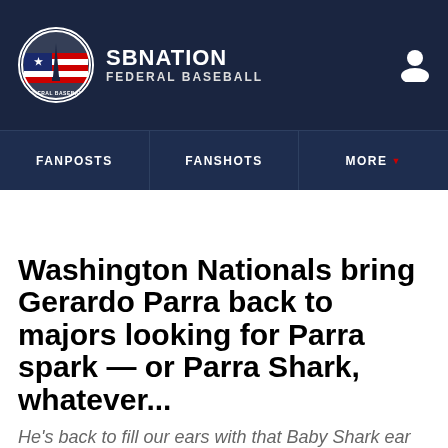SB NATION — FEDERAL BASEBALL
[Figure (logo): SB Nation Federal Baseball circular logo with American flag and monument graphic]
Washington Nationals bring Gerardo Parra back to majors looking for Parra spark — or Parra Shark, whatever...
He's back to fill our ears with that Baby Shark ear worm again...
By Patrick Reddington | @federalbaseball | Jun 20, 2021, 12:13pm EDT